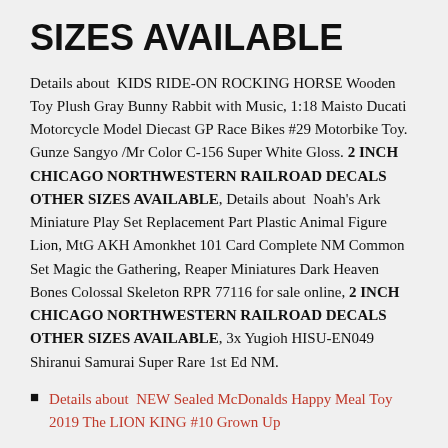SIZES AVAILABLE
Details about  KIDS RIDE-ON ROCKING HORSE Wooden Toy Plush Gray Bunny Rabbit with Music, 1:18 Maisto Ducati Motorcycle Model Diecast GP Race Bikes #29 Motorbike Toy. Gunze Sangyo /Mr Color C-156 Super White Gloss. 2 INCH CHICAGO NORTHWESTERN RAILROAD DECALS OTHER SIZES AVAILABLE, Details about  Noah's Ark Miniature Play Set Replacement Part Plastic Animal Figure Lion, MtG AKH Amonkhet 101 Card Complete NM Common Set Magic the Gathering, Reaper Miniatures Dark Heaven Bones Colossal Skeleton RPR 77116 for sale online, 2 INCH CHICAGO NORTHWESTERN RAILROAD DECALS OTHER SIZES AVAILABLE, 3x Yugioh HISU-EN049 Shiranui Samurai Super Rare 1st Ed NM.
Details about  NEW Sealed McDonalds Happy Meal Toy 2019 The LION KING #10 Grown Up